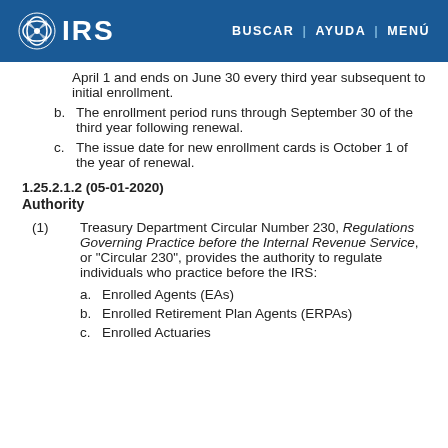IRS | BUSCAR | AYUDA | MENÚ
April 1 and ends on June 30 every third year subsequent to initial enrollment.
b. The enrollment period runs through September 30 of the third year following renewal.
c. The issue date for new enrollment cards is October 1 of the year of renewal.
1.25.2.1.2 (05-01-2020)
Authority
(1) Treasury Department Circular Number 230, Regulations Governing Practice before the Internal Revenue Service, or "Circular 230", provides the authority to regulate individuals who practice before the IRS:
a. Enrolled Agents (EAs)
b. Enrolled Retirement Plan Agents (ERPAs)
c. Enrolled Actuaries